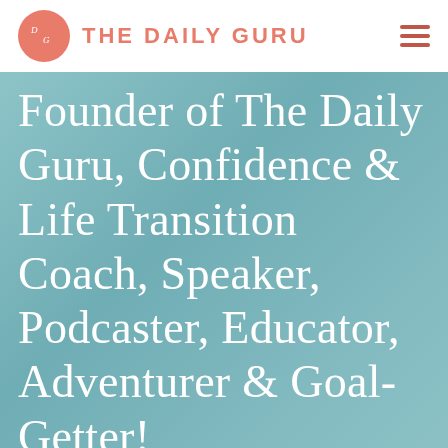THE DAILY GURU
Founder of The Daily Guru, Confidence & Life Transition Coach, Speaker, Podcaster, Educator, Adventurer & Goal-Getter!
My mission is to help women believe and invest in themselves and to help them to carve out their own exciting and fortuitous